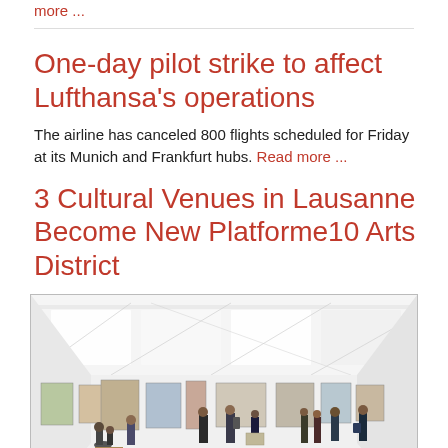more ...
One-day pilot strike to affect Lufthansa's operations
The airline has canceled 800 flights scheduled for Friday at its Munich and Frankfurt hubs. Read more ...
3 Cultural Venues in Lausanne Become New Platforme10 Arts District
[Figure (photo): Interior of a large modern art museum/gallery with white walls, white ceiling panels with lighting, wooden floor, and many visitors looking at artwork hung on the walls.]